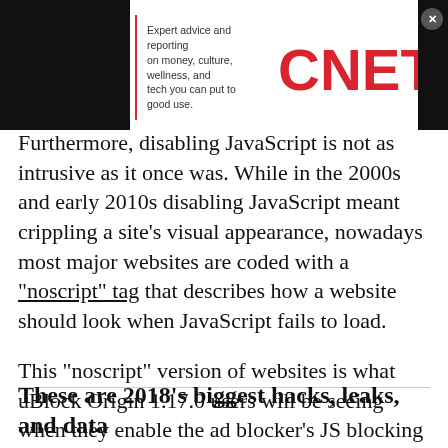[Figure (logo): CNET advertisement banner with tagline 'Expert advice and reporting on money, culture, wellness, and tech you can put to good use.' and CNET logo in red]
Furthermore, disabling JavaScript is not as intrusive as it once was. While in the 2000s and early 2010s disabling JavaScript meant crippling a site's visual appearance, nowadays most major websites are coded with a "noscript" tag that describes how a website should look when JavaScript fails to load.

This "noscript" version of websites is what uBlock Origin 1.17.0 users will be seeing when they enable the ad blocker's JS blocking function.
These are 2018's biggest hacks, leaks, and data